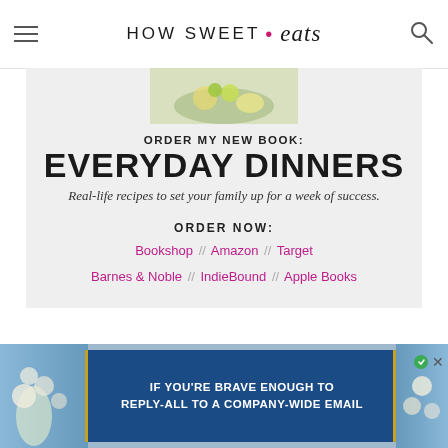HOW SWEET • eats
[Figure (photo): Partial view of book cover with food photography showing salad/bowl dish]
ORDER MY NEW BOOK:
EVERYDAY DINNERS
Real-life recipes to set your family up for a week of success.
ORDER NOW:
Bookshop // Amazon // Target
Barnes & Noble // IndieBound // Apple Books
[Figure (screenshot): Advertisement banner: IF YOU'RE BRAVE ENOUGH TO REPLY-ALL TO A COMPANY-WIDE EMAIL, blue background with floral decoration]